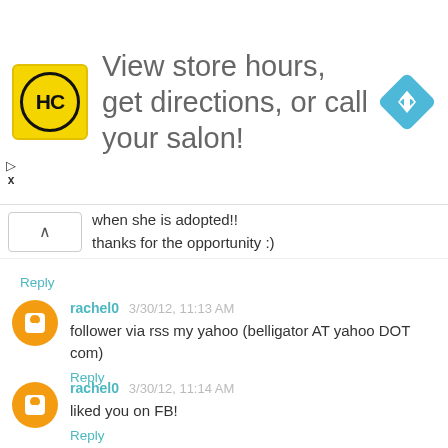[Figure (other): Advertisement banner with HC logo (yellow square with HC text in black circle), text 'View store hours, get directions, or call your salon!', and a blue diamond arrow icon on the right.]
when she is adopted!!
thanks for the opportunity :)
Reply
rachel0  3/30/12, 11:13 AM
follower via rss my yahoo (belligator AT yahoo DOT com)
Reply
rachel0  3/30/12, 11:14 AM
liked you on FB!
Reply